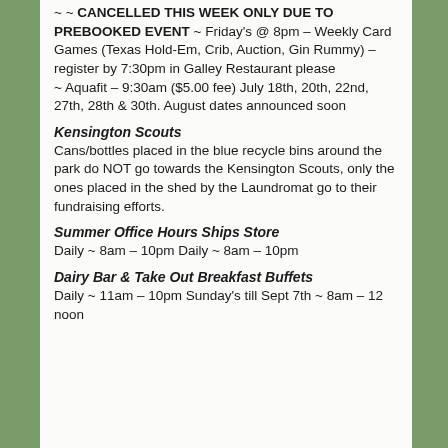~ ~ CANCELLED THIS WEEK ONLY DUE TO PREBOOKED EVENT ~ Friday's @ 8pm – Weekly Card Games (Texas Hold-Em, Crib, Auction, Gin Rummy) – register by 7:30pm in Galley Restaurant please
~ Aquafit – 9:30am ($5.00 fee) July 18th, 20th, 22nd, 27th, 28th & 30th. August dates announced soon
Kensington Scouts
Cans/bottles placed in the blue recycle bins around the park do NOT go towards the Kensington Scouts, only the ones placed in the shed by the Laundromat go to their fundraising efforts.
Summer Office Hours Ships Store
Daily ~ 8am – 10pm Daily ~ 8am – 10pm
Dairy Bar & Take Out Breakfast Buffets
Daily ~ 11am – 10pm Sunday's till Sept 7th ~ 8am – 12 noon